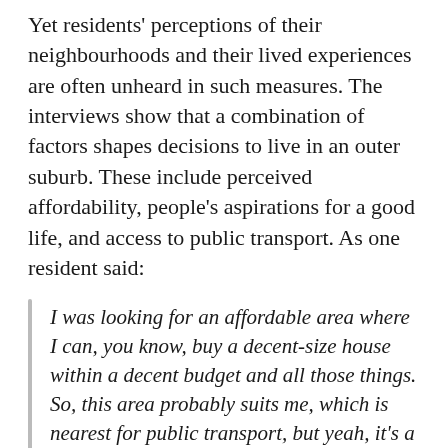Yet residents' perceptions of their neighbourhoods and their lived experiences are often unheard in such measures. The interviews show that a combination of factors shapes decisions to live in an outer suburb. These include perceived affordability, people's aspirations for a good life, and access to public transport. As one resident said:
I was looking for an affordable area where I can, you know, buy a decent-size house within a decent budget and all those things. So, this area probably suits me, which is nearest for public transport, but yeah, it's a bit far from the CBD area, which is alright. – male resident of Wyndham
Access to green spaces and a sense of community were among the things residents loved most about living in their suburb: